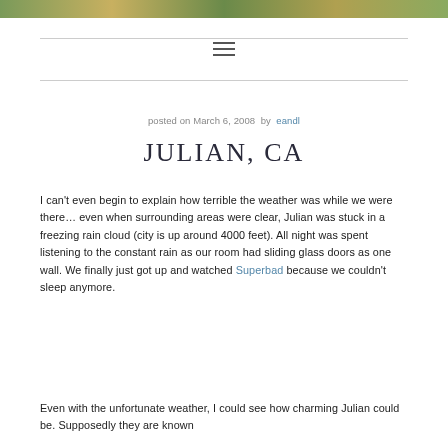[Figure (photo): Colorful nature/foliage header image strip]
≡
posted on March 6, 2008 by eandl
JULIAN, CA
I can't even begin to explain how terrible the weather was while we were there… even when surrounding areas were clear, Julian was stuck in a freezing rain cloud (city is up around 4000 feet). All night was spent listening to the constant rain as our room had sliding glass doors as one wall. We finally just got up and watched Superbad because we couldn't sleep anymore.
Even with the unfortunate weather, I could see how charming Julian could be. Supposedly they are known...